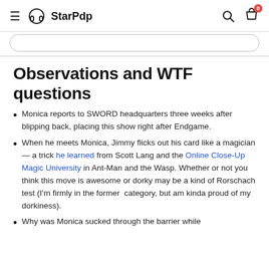StarPdp
Observations and WTF questions
Monica reports to SWORD headquarters three weeks after blipping back, placing this show right after Endgame.
When he meets Monica, Jimmy flicks out his card like a magician — a trick he learned from Scott Lang and the Online Close-Up Magic University in Ant-Man and the Wasp. Whether or not you think this move is awesome or dorky may be a kind of Rorschach test (I'm firmly in the former category, but am kinda proud of my dorkiness).
Why was Monica sucked through the barrier while